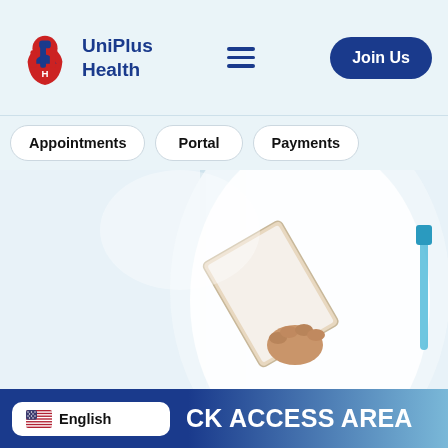[Figure (logo): UniPlus Health logo with red and blue shield/figure icon on left, bold dark blue text 'UniPlus Health' on right]
UniPlus Health — hamburger menu — Join Us button
Appointments
Portal
Payments
[Figure (photo): Doctor or medical professional in white coat holding a tablet/clipboard at an angle, bright clinical white background]
CK ACCESS AREA
English